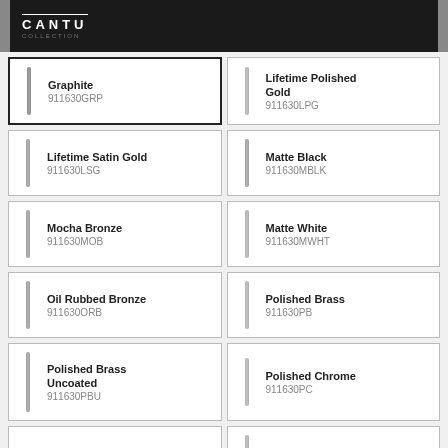CANTU
Graphite 911630GRP
Lifetime Polished Gold 911630LPG
Lifetime Satin Gold 911630LSG
Matte Black 911630MBLK
Mocha Bronze 911630MOB
Matte White 911630MWHT
Oil Rubbed Bronze 911630ORB
Polished Brass 911630PB
Polished Brass Uncoated 911630PBU
Polished Chrome 911630PC
Polished Nickel 911630PN